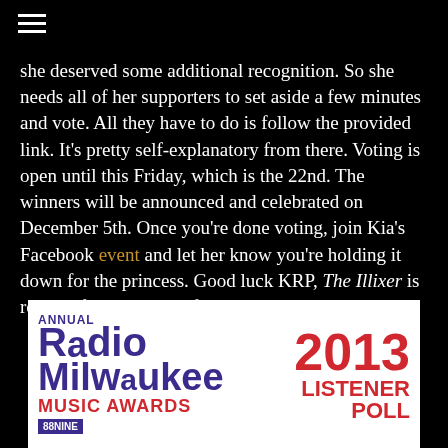≡
she deserved some additional recognition. So she needs all of her supporters to set aside a few minutes and vote. All they have to do is follow the provided link. It's pretty self-explanatory from there. Voting is open until this Friday, which is the 22nd. The winners will be announced and celebrated on December 5th. Once you're done voting, join Kia's Facebook event and let her know you're holding it down for the princess. Good luck KRP, The Illixer is rooting for you! And of course we voted! -MinM
[Figure (other): Annual Radio Milwaukee Music Awards 2013 Listener Poll promotional image with purple and red text on white background, featuring 88Nine radio logo]